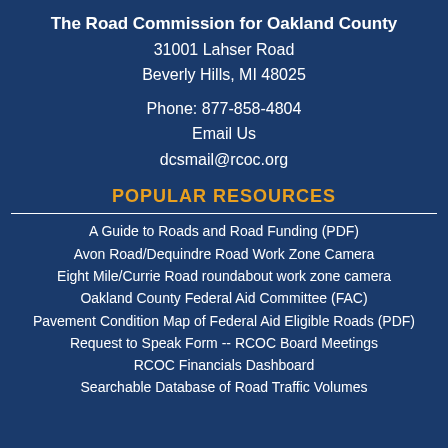The Road Commission for Oakland County
31001 Lahser Road
Beverly Hills, MI 48025
Phone: 877-858-4804
Email Us
dcsmail@rcoc.org
POPULAR RESOURCES
A Guide to Roads and Road Funding (PDF)
Avon Road/Dequindre Road Work Zone Camera
Eight Mile/Currie Road roundabout work zone camera
Oakland County Federal Aid Committee (FAC)
Pavement Condition Map of Federal Aid Eligible Roads (PDF)
Request to Speak Form -- RCOC Board Meetings
RCOC Financials Dashboard
Searchable Database of Road Traffic Volumes